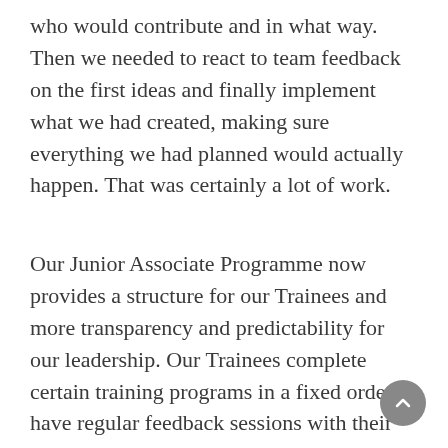who would contribute and in what way. Then we needed to react to team feedback on the first ideas and finally implement what we had created, making sure everything we had planned would actually happen. That was certainly a lot of work.
Our Junior Associate Programme now provides a structure for our Trainees and more transparency and predictability for our leadership. Our Trainees complete certain training programs in a fixed order, have regular feedback sessions with their mentors, and know exactly where they stand in terms of their development. I orchestrate regular